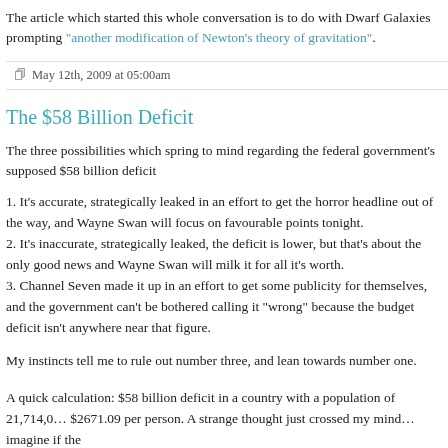The article which started this whole conversation is to do with Dwarf Galaxies prompting "another modification of Newton's theory of gravitation".
May 12th, 2009 at 05:00am
The $58 Billion Deficit
The three possibilities which spring to mind regarding the federal government's supposed $58 billion deficit
1. It's accurate, strategically leaked in an effort to get the horror headline out of the way, and Wayne Swan will focus on favourable points tonight.
2. It's inaccurate, strategically leaked, the deficit is lower, but that's about the only good news and Wayne Swan will milk it for all it's worth.
3. Channel Seven made it up in an effort to get some publicity for themselves, and the government can't be bothered calling it "wrong" because the budget deficit isn't anywhere near that figure.
My instincts tell me to rule out number three, and lean towards number one.
A quick calculation: $58 billion deficit in a country with a population of 21,714,0... $2671.09 per person. A strange thought just crossed my mind… imagine if the